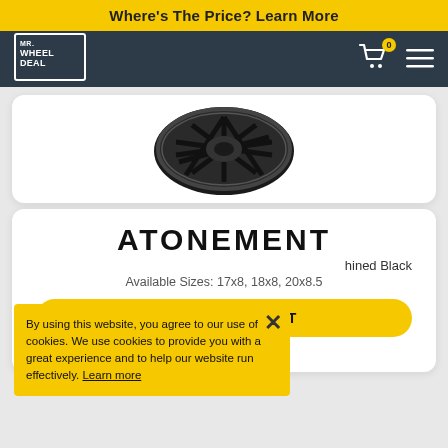Where's The Price? Learn More
[Figure (logo): Mr. Wheel Deal logo - white text on dark navy background with border]
[Figure (illustration): Dark multi-spoke alloy wheel viewed from slight angle, black/gunmetal finish]
ATONEMENT
hined Black
Available Sizes: 17x8, 18x8, 20x8.5
VIEW ATONEMENT
Gloss Black
By using this website, you agree to our use of cookies. We use cookies to provide you with a great experience and to help our website run effectively. Learn more